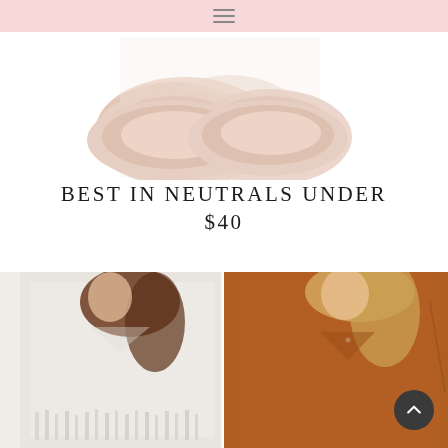Navigation bar with hamburger menu
[Figure (photo): Top portion showing two product images: beige/nude flat shoes on the left and a gold/tan decorative box or bag on the right, against a white background]
BEST IN NEUTRALS UNDER $40
[Figure (photo): Two women modeling neutral-colored sweaters: left model wears an ivory/cream fringe knit sweater with distressed hem details and dark jeans; right model wears a rust/caramel brown long-sleeve v-neck top]